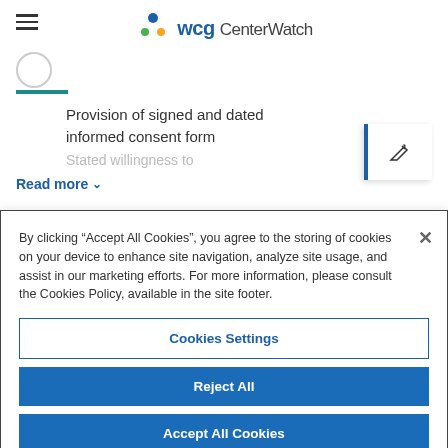WCG CenterWatch
Provision of signed and dated informed consent form
Stated willingness to
Read more
By clicking “Accept All Cookies”, you agree to the storing of cookies on your device to enhance site navigation, analyze site usage, and assist in our marketing efforts. For more information, please consult the Cookies Policy, available in the site footer.
Cookies Settings
Reject All
Accept All Cookies